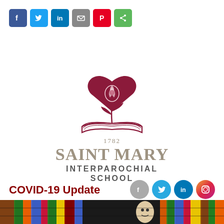[Figure (other): Row of social sharing icon buttons: Facebook (blue), Twitter (blue), LinkedIn (blue), Email (grey), Pinterest (red), Share (green)]
[Figure (logo): Saint Mary Interparochial School logo: maroon heart with rose and open book, year 1782, text 'SAINT MARY INTERPAROCHIAL SCHOOL']
COVID-19 Update
[Figure (other): Bottom social media icons: Facebook (grey circle), Twitter (blue circle), LinkedIn (blue circle), Instagram (colorful circle)]
[Figure (photo): Colorful stained glass style illustration strip at the bottom of the page showing faces and abstract patterns]